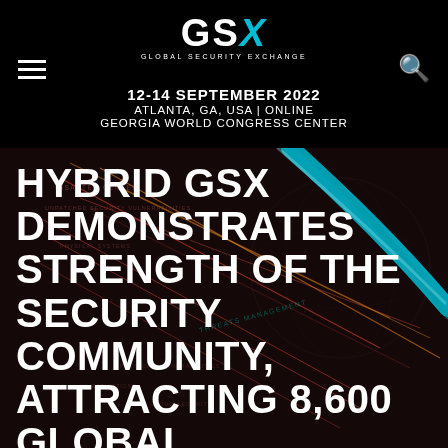GSX GLOBAL SECURITY EXCHANGE | 12-14 SEPTEMBER 2022 | ATLANTA, GA, USA | ONLINE | GEORGIA WORLD CONGRESS CENTER
[Figure (illustration): Dark cybersecurity network visualization background with colored connection lines (blue, red, orange) radiating across a globe map, with faint text labels like 'UNPATCHED SECURITY VULNERABILITIES', 'THREATS MANAGEMENT', overlaid with large white bold headline text.]
HYBRID GSX DEMONSTRATES STRENGTH OF THE SECURITY COMMUNITY, ATTRACTING 8,600 GLOBAL REGISTRANTS